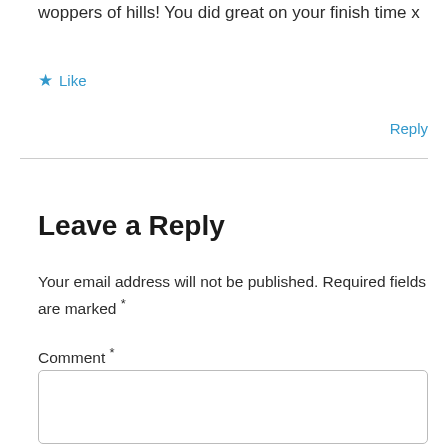woppers of hills! You did great on your finish time x
★ Like
Reply
Leave a Reply
Your email address will not be published. Required fields are marked *
Comment *